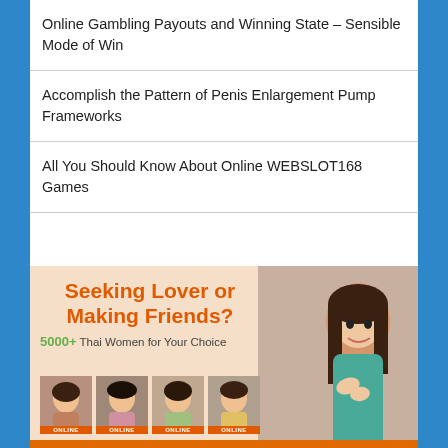Online Gambling Payouts and Winning State – Sensible Mode of Win
Accomplish the Pattern of Penis Enlargement Pump Frameworks
All You Should Know About Online WEBSLOT168 Games
[Figure (advertisement): Dating site advertisement with text 'Seeking Lover or Making Friends? 5000+ Thai Women for Your Choice' with photos of women and an ONLINE badge, warm peach background.]